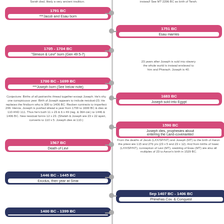[Figure (infographic): Biblical timeline infographic showing events from 1791 BC to 1400 BC with pink and navy event boxes on left and right sides of a central vertical timeline. Events include Jacob and Esau born, Esau marries, Simeon & Levi born, Joseph born, Joseph sold into Egypt, Joseph dies, Death of Levi, Exodus, Phinehas Cov. & Conquest, and more.]